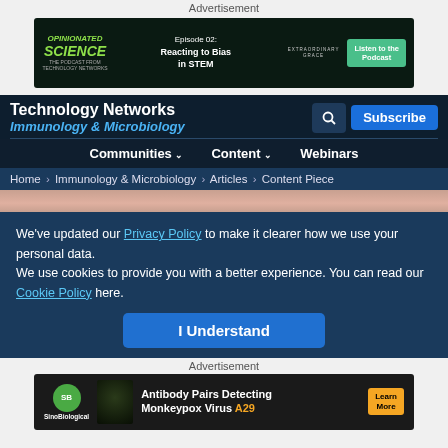Advertisement
[Figure (illustration): Opinionated Science podcast banner: Episode 02 Reacting to Bias in STEM, Extraordinary Grace, Listen to the Podcast button]
Technology Networks Immunology & Microbiology
Communities Content Webinars
Home > Immunology & Microbiology > Articles > Content Piece
[Figure (photo): Close-up skin/body photo strip used as hero image]
We've updated our Privacy Policy to make it clearer how we use your personal data.
We use cookies to provide you with a better experience. You can read our Cookie Policy here.
I Understand
Advertisement
[Figure (illustration): SinoBiological advertisement: Antibody Pairs Detecting Monkeypox Virus A29, Learn More button]